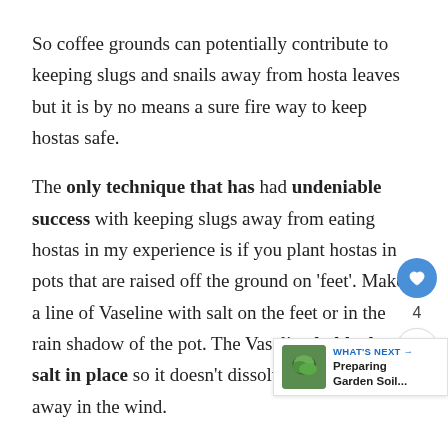So coffee grounds can potentially contribute to keeping slugs and snails away from hosta leaves but it is by no means a sure fire way to keep hostas safe.
The only technique that has had undeniable success with keeping slugs away from eating hostas in my experience is if you plant hostas in pots that are raised off the ground on 'feet'. Make a line of Vaseline with salt on the feet or in the rain shadow of the pot. The Vaseline holds the salt in place so it doesn't dissolve in rain or blow away in the wind.
Slugs and snails will not cross a line of salt as it will dehydrate them via osmosis. Therefore t can be very successful. (Read and learn how to